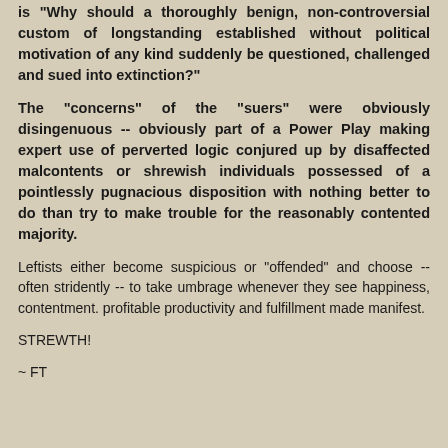is "Why should a thoroughly benign, non-controversial custom of longstanding established without political motivation of any kind suddenly be questioned, challenged and sued into extinction?"
The "concerns" of the "suers" were obviously disingenuous -- obviously part of a Power Play making expert use of perverted logic conjured up by disaffected malcontents or shrewish individuals possessed of a pointlessly pugnacious disposition with nothing better to do than try to make trouble for the reasonably contented majority.
Leftists either become suspicious or "offended" and choose -- often stridently -- to take umbrage whenever they see happiness, contentment. profitable productivity and fulfillment made manifest.
STREWTH!
~ FT